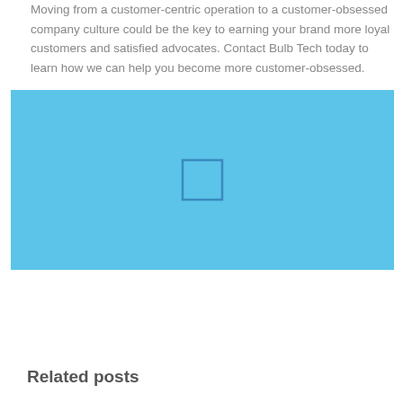Moving from a customer-centric operation to a customer-obsessed company culture could be the key to earning your brand more loyal customers and satisfied advocates. Contact Bulb Tech today to learn how we can help you become more customer-obsessed.
[Figure (illustration): Light blue rectangular image placeholder with a small outlined square/rectangle shape in the center, resembling a broken image icon.]
Related posts